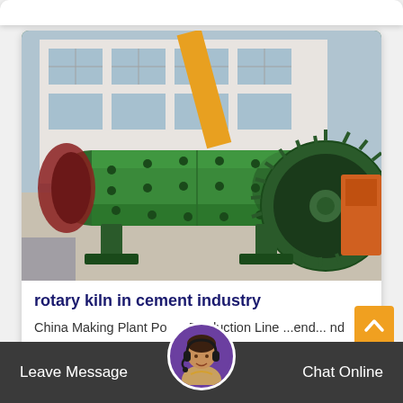[Figure (photo): Photograph of a large green industrial ball mill machine with gear wheel, photographed outdoors in front of a factory building with a yellow crane in the background.]
rotary kiln in cement industry
China Making Plant Po... Production Line ...end... nd Ce... Machine Active Rotary Lime Kiln. Find details
Leave Message   Chat Online